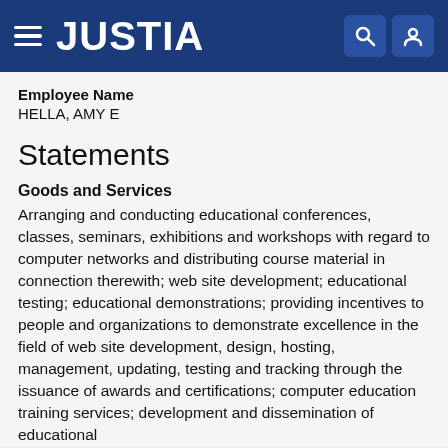JUSTIA
Employee Name
HELLA, AMY E
Statements
Goods and Services
Arranging and conducting educational conferences, classes, seminars, exhibitions and workshops with regard to computer networks and distributing course material in connection therewith; web site development; educational testing; educational demonstrations; providing incentives to people and organizations to demonstrate excellence in the field of web site development, design, hosting, management, updating, testing and tracking through the issuance of awards and certifications; computer education training services; development and dissemination of educational